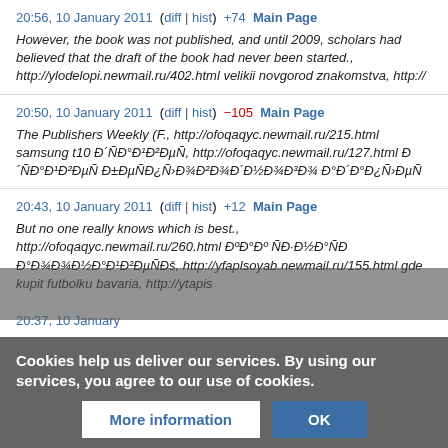20:56, 10 January 2011  (diff | hist)  +74  Main Page
However, the book was not published, and until 2009, scholars had believed that the draft of the book had never been started., http://ylodelopi.newmail.ru/402.html velikii novgorod znakomstva, http://
20:50, 10 January 2011  (diff | hist)  −105  Main Page
The Publishers Weekly (F., http://ofoqaqyc.newmail.ru/215.html samsung t10 Đ´ÑĐ°Đ¹Đ²ĐµÑ, http://ofoqaqyc.newmail.ru/127.html Đ´ÑĐ°Đ¹Đ²ĐµÑ Đ±ĐµÑĐ¿Ñ Đ¾Đ²Đ¾Đ´Đ½Đ¾Đ³Đ¾ Đ°Đ´Đ°Đ¿Ñ ĐµÑ
20:43, 10 January 2011  (diff | hist)  +12  Main Page
But no one really knows which is best., http://ofoqaqyc.newmail.ru/260.html ĐºĐ°Đº ÑĐ·Đ½Đ°ÑĐ Đ°Đ¾Đ¾Đ´Đ´Đ´ Đ´ÑĐ°Đ¹Đ²ĐµÑĐ¡, http://yfaplsoyab.newmail.ru/155.html gde kupit futbolku bavaria, http://ytapis...
20:37, 10 January 2011  (diff | hist) ...